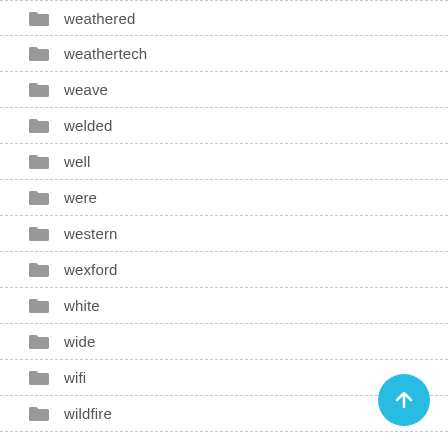weathered
weathertech
weave
welded
well
were
western
wexford
white
wide
wifi
wildfire